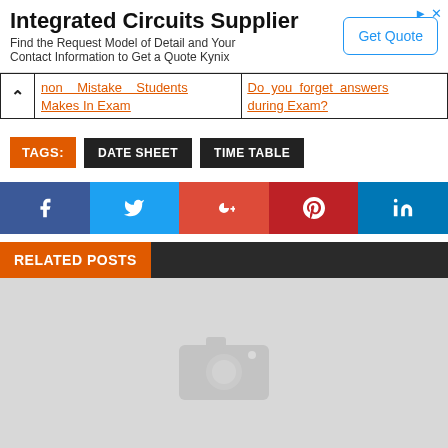[Figure (screenshot): Advertisement banner for Integrated Circuits Supplier with Get Quote button]
non Mistake Students Makes In Exam | Do you forget answers during Exam?
TAGS: DATE SHEET  TIME TABLE
[Figure (infographic): Social sharing bar with Facebook, Twitter, Google+, Pinterest, LinkedIn buttons]
RELATED POSTS
[Figure (photo): Placeholder image with camera icon]